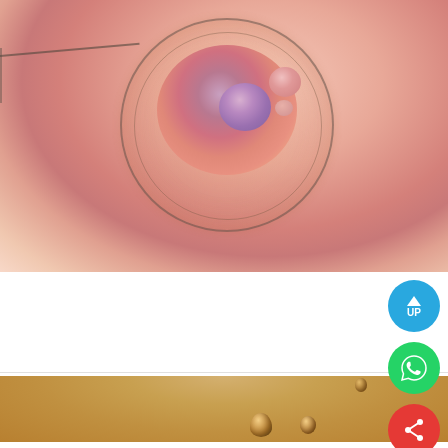[Figure (illustration): Medical illustration of an egg cell (oocyte) during assisted hatching/nesting procedure. Shows a large circular cell with zona pellucida, cytoplasm with colorful gradient showing pronuclei (blue-purple, pink spheres), and a needle inserted from the left side. Pink background with soft lighting.]
Assisted Nesting
[Figure (photo): Close-up photo of droplets or spherical objects on a warm golden/amber background, partially visible at the bottom of the page.]